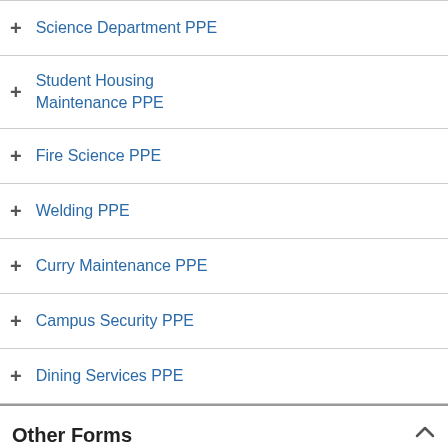Science Department PPE
Student Housing Maintenance PPE
Fire Science PPE
Welding PPE
Curry Maintenance PPE
Campus Security PPE
Dining Services PPE
Other Forms
| Title |
| --- |
AED Location List - Coos Campus
Chemical Collection Request